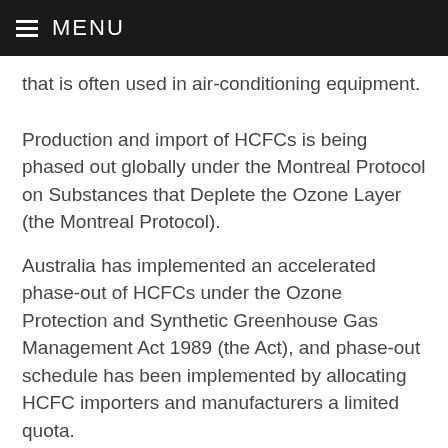≡ MENU
that is often used in air-conditioning equipment.
Production and import of HCFCs is being phased out globally under the Montreal Protocol on Substances that Deplete the Ozone Layer (the Montreal Protocol).
Australia has implemented an accelerated phase-out of HCFCs under the Ozone Protection and Synthetic Greenhouse Gas Management Act 1989 (the Act), and phase-out schedule has been implemented by allocating HCFC importers and manufacturers a limited quota.